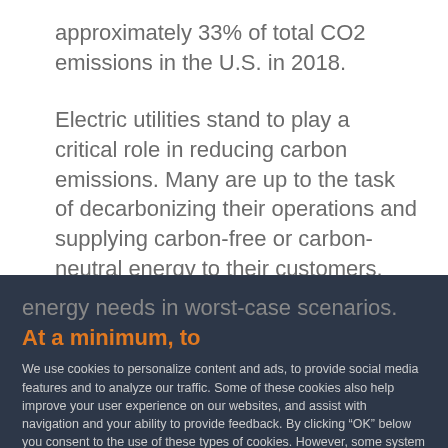approximately 33% of total CO2 emissions in the U.S. in 2018.
Electric utilities stand to play a critical role in reducing carbon emissions. Many are up to the task of decarbonizing their operations and supplying carbon-free or carbon-neutral energy to their customers.
Carbon neutral and carbon free systems must install enough capacity (with the right capabilities) to meet energy needs in worst-case scenarios. At a minimum, to
We use cookies to personalize content and ads, to provide social media features and to analyze our traffic. Some of these cookies also help improve your user experience on our websites, and assist with navigation and your ability to provide feedback. By clicking “OK” below you consent to the use of these types of cookies. However, some system cookies that are needed for this website to work properly have already been set. Read more in our Cookie notice on how to prevent any cookies from being set.
less than 12 hour duration are not cost optimal for long-storage and energy time-shifting in high renewable power systems.